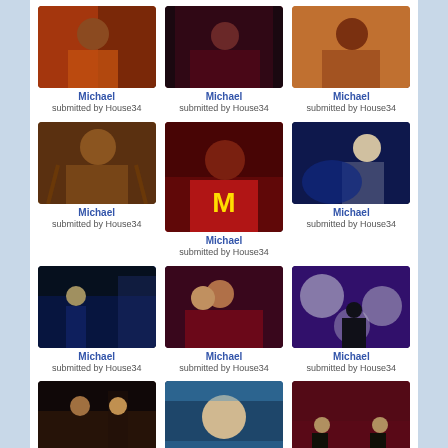[Figure (photo): Photo of Michael Jackson in orange/red costume]
Michael
submitted by House34
[Figure (photo): Photo of Michael Jackson with group in dark scene]
Michael
submitted by House34
[Figure (photo): Photo of Michael Jackson with colorful accessories]
Michael
submitted by House34
[Figure (photo): Photo of Michael Jackson with arms spread, doll-like costume]
Michael
submitted by House34
[Figure (photo): Photo of Michael Jackson in red Thriller jacket]
Michael
submitted by House34
[Figure (photo): Photo of Michael Jackson performing on stage with blue light]
Michael
submitted by House34
[Figure (photo): Photo of Michael Jackson dancing in dark alley scene]
Michael
submitted by House34
[Figure (photo): Photo of Michael Jackson with woman in red jacket]
Michael
submitted by House34
[Figure (photo): Photo of Michael Jackson performing on purple lit stage with orbs]
Michael
submitted by House34
[Figure (photo): Photo of Michael Jackson in hat with woman, dark scene]
[Figure (photo): Photo of Michael Jackson face with heart on forehead, sky background]
[Figure (photo): Photo of Michael Jackson performing on red/purple stage]